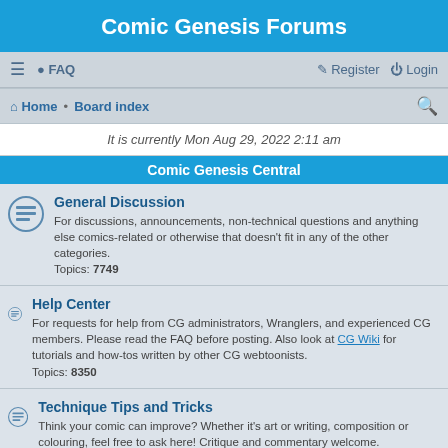Comic Genesis Forums
≡  FAQ   Register  Login
Home · Board index
It is currently Mon Aug 29, 2022 2:11 am
Comic Genesis Central
General Discussion — For discussions, announcements, non-technical questions and anything else comics-related or otherwise that doesn't fit in any of the other categories. Topics: 7749
Help Center — For requests for help from CG administrators, Wranglers, and experienced CG members. Please read the FAQ before posting. Also look at CG Wiki for tutorials and how-tos written by other CG webtoonists. Topics: 8350
Technique Tips and Tricks — Think your comic can improve? Whether it's art or writing, composition or colouring, feel free to ask here! Critique and commentary welcome. Topics: 1900
Comic Pitching — This is where you advertise your webcomic to your new audience, and get it reviewed by the community. Read the rules before pitching. Topics: 1970
Dropdowns and Crossovers